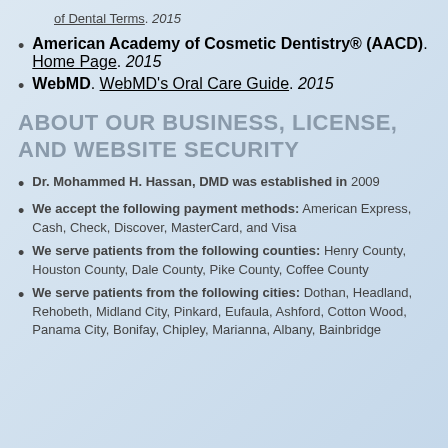of Dental Terms. 2015
American Academy of Cosmetic Dentistry® (AACD). Home Page. 2015
WebMD. WebMD's Oral Care Guide. 2015
ABOUT OUR BUSINESS, LICENSE, AND WEBSITE SECURITY
Dr. Mohammed H. Hassan, DMD was established in 2009
We accept the following payment methods: American Express, Cash, Check, Discover, MasterCard, and Visa
We serve patients from the following counties: Henry County, Houston County, Dale County, Pike County, Coffee County
We serve patients from the following cities: Dothan, Headland, Rehobeth, Midland City, Pinkard, Eufaula, Ashford, Cotton Wood, Panama City, Bonifay, Chipley, Marianna, Albany, Bainbridge